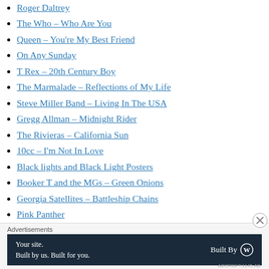Roger Daltrey
The Who – Who Are You
Queen – You're My Best Friend
On Any Sunday
T Rex – 20th Century Boy
The Marmalade – Reflections of My Life
Steve Miller Band – Living In The USA
Gregg Allman – Midnight Rider
The Rivieras – California Sun
10cc – I'm Not In Love
Black lights and Black Light Posters
Booker T and the MGs – Green Onions
Georgia Satellites – Battleship Chains
Pink Panther
Advertisements
[Figure (other): WordPress 'Your site. Built by us. Built for you. Built By WordPress' advertisement banner on dark navy background]